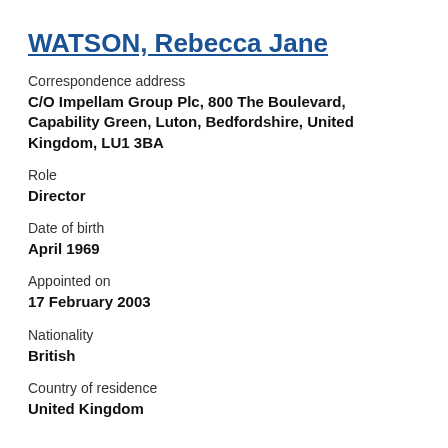WATSON, Rebecca Jane
Correspondence address
C/O Impellam Group Plc, 800 The Boulevard, Capability Green, Luton, Bedfordshire, United Kingdom, LU1 3BA
Role
Director
Date of birth
April 1969
Appointed on
17 February 2003
Nationality
British
Country of residence
United Kingdom